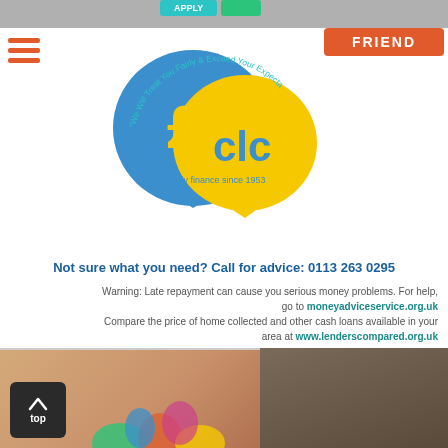[Figure (logo): CLC family finance logo — two speech bubbles (blue and yellow) with pound sign and text 'clc family finance since 1953', surrounded by text 'We Will Treat You Fairly & Exceed Your Expectations']
Not sure what you need? Call for advice: 0113 263 0295
Warning: Late repayment can cause you serious money problems. For help, go to moneyadviceservice.org.uk Compare the price of home collected and other cash loans available in your area at www.lenderscompared.org.uk
[Figure (photo): Close-up photo of hands and a wooden background, partially visible at bottom of page. A dark button with up arrow and 'top' text is overlaid. Colorful splash/firework graphic partially visible.]